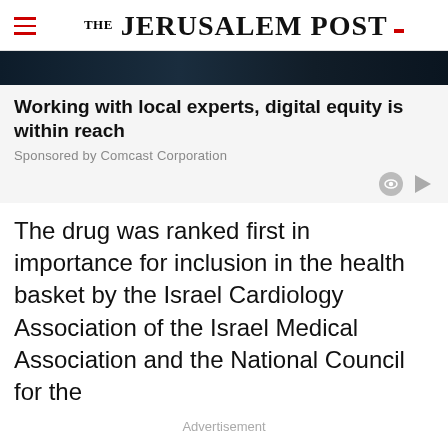THE JERUSALEM POST
[Figure (photo): Dark header image, partial view of a person or scene]
Working with local experts, digital equity is within reach
Sponsored by Comcast Corporation
The drug was ranked first in importance for inclusion in the health basket by the Israel Cardiology Association of the Israel Medical Association and the National Council for the
Advertisement